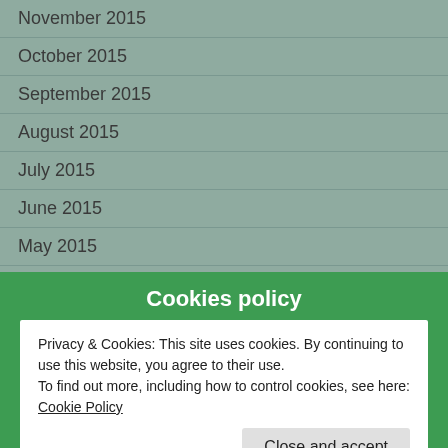November 2015
October 2015
September 2015
August 2015
July 2015
June 2015
May 2015
April 2015
March 2015
Cookies policy
Privacy & Cookies: This site uses cookies. By continuing to use this website, you agree to their use.
To find out more, including how to control cookies, see here: Cookie Policy
Close and accept